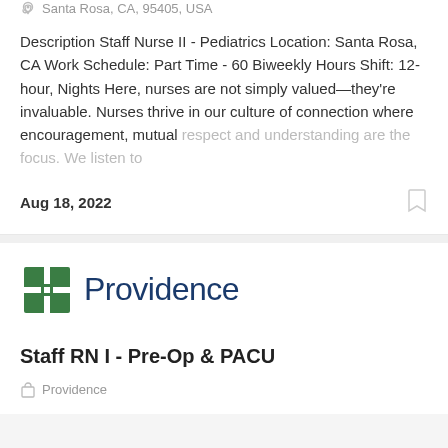Santa Rosa, CA, 95405, USA
Description Staff Nurse II - Pediatrics Location: Santa Rosa, CA Work Schedule: Part Time - 60 Biweekly Hours Shift: 12-hour, Nights Here, nurses are not simply valued—they're invaluable. Nurses thrive in our culture of connection where encouragement, mutual respect and understanding are the focus. We listen to
Aug 18, 2022
[Figure (logo): Providence logo with green cross and dark blue text]
Staff RN I - Pre-Op & PACU
Providence